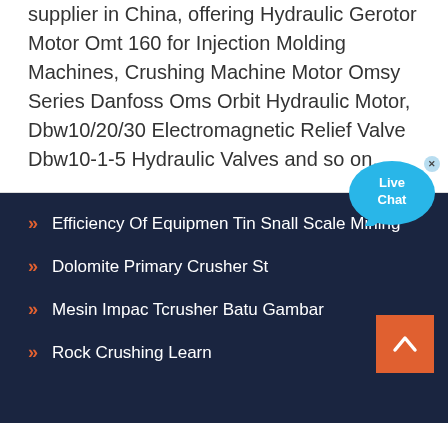Hydraulic Motor, Hydraulic Vane Pump, Valve manufacturer / supplier in China, offering Hydraulic Gerotor Motor Omt 160 for Injection Molding Machines, Crushing Machine Motor Omsy Series Danfoss Oms Orbit Hydraulic Motor, Dbw10/20/30 Electromagnetic Relief Valve Dbw10-1-5 Hydraulic Valves and so on.
[Figure (other): Live Chat button bubble icon with close (x) button in top right]
Efficiency Of Equipmen Tin Snall Scale Mining
Dolomite Primary Crusher St
Mesin Impac Tcrusher Batu Gambar
Rock Crushing Learn